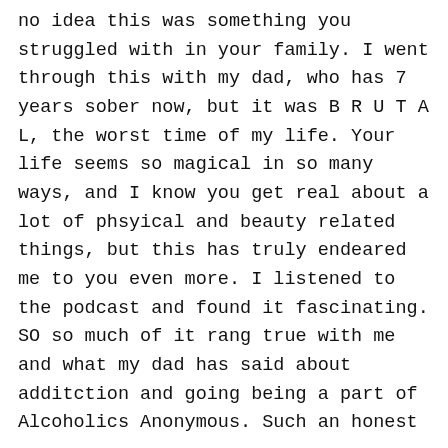no idea this was something you struggled with in your family. I went through this with my dad, who has 7 years sober now, but it was B R U T A L, the worst time of my life. Your life seems so magical in so many ways, and I know you get real about a lot of phsyical and beauty related things, but this has truly endeared me to you even more. I listened to the podcast and found it fascinating. SO so much of it rang true with me and what my dad has said about additction and going being a part of Alcoholics Anonymous. Such an honest